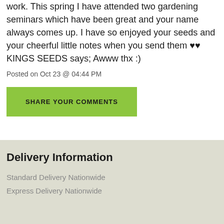work. This spring I have attended two gardening seminars which have been great and your name always comes up. I have so enjoyed your seeds and your cheerful little notes when you send them ❤❤
KINGS SEEDS says; Awww thx :)
Posted on Oct 23 @ 04:44 PM
SHARE YOUR COMMENTS
Delivery Information
Standard Delivery Nationwide
Express Delivery Nationwide